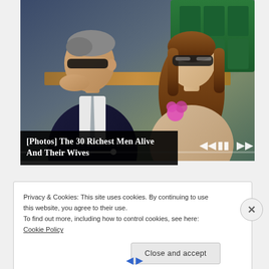[Figure (photo): Two people seated in what appears to be a stadium or event venue. A man in a dark suit with sunglasses on the left, and a woman with long brown hair wearing sunglasses and a floral detail on the right. Green seats visible in background.]
[Photos] The 30 Richest Men Alive And Their Wives
Privacy & Cookies: This site uses cookies. By continuing to use this website, you agree to their use.
To find out more, including how to control cookies, see here: Cookie Policy
Close and accept